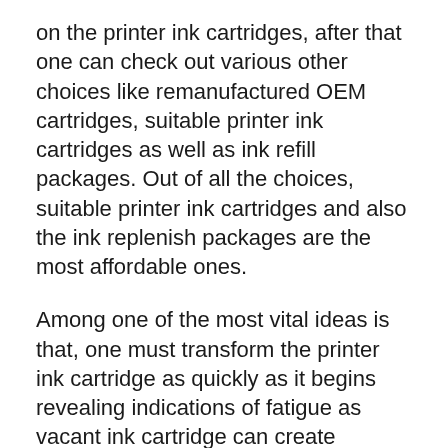on the printer ink cartridges, after that one can check out various other choices like remanufactured OEM cartridges, suitable printer ink cartridges as well as ink refill packages. Out of all the choices, suitable printer ink cartridges and also the ink replenish packages are the most affordable ones.
Among one of the most vital ideas is that, one must transform the printer ink cartridge as quickly as it begins revealing indications of fatigue as vacant ink cartridge can create possible damages to the printer head. Altering the printer ink cartridge on schedule will certainly guarantee that your printer is risk-free as well as in an excellent problem.